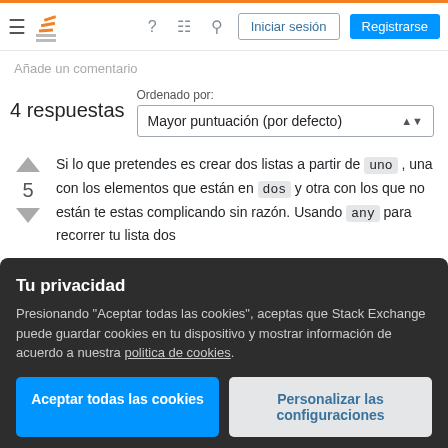Stack Exchange — Iniciar sesión | Registrarse
Añade un comentario
4 respuestas
Ordenado por: Mayor puntuación (por defecto)
Si lo que pretendes es crear dos listas a partir de uno , una con los elementos que están en dos y otra con los que no están te estas complicando sin razón. Usando any para recorrer tu lista dos
Tu privacidad
Presionando "Aceptar todas las cookies", aceptas que Stack Exchange puede guardar cookies en tu dispositivo y mostrar información de acuerdo a nuestra politica de cookies.
Aceptar todas las cookies
Personalizar las configuraciones
trash.append(x)